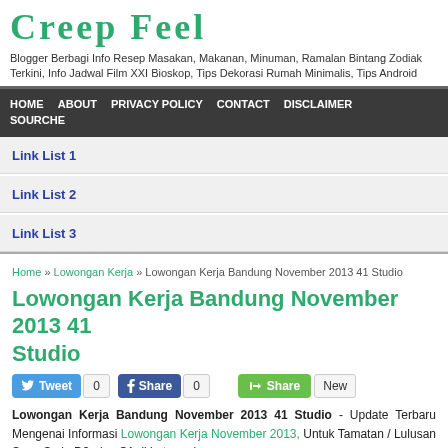Creep Feel
Blogger Berbagi Info Resep Masakan, Makanan, Minuman, Ramalan Bintang Zodiak Terkini, Info Jadwal Film XXI Bioskop, Tips Dekorasi Rumah Minimalis, Tips Android
HOME  ABOUT  PRIVACY POLICY  CONTACT  DISCLAIMER  SOURCHE
Link List 1
Link List 2
Link List 3
Home » Lowongan Kerja » Lowongan Kerja Bandung November 2013 41 Studio
Lowongan Kerja Bandung November 2013 41 Studio
Tweet 0  Share 0  Share  New
Lowongan Kerja Bandung November 2013 41 Studio - Update Terbaru Mengenai Informasi Lowongan Kerja November 2013, Untuk Tamatan / Lulusan Sma, Smk, D3, dan S1 di kota anda.